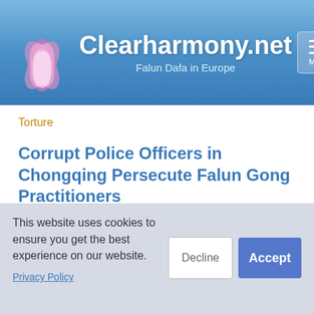Clearharmony.net — Falun Dafa in Europe
Torture
Corrupt Police Officers in Chongqing Persecute Falun Gong Practitioners
2009-01-25
This website uses cookies to ensure you get the best experience on our website.
Privacy Policy